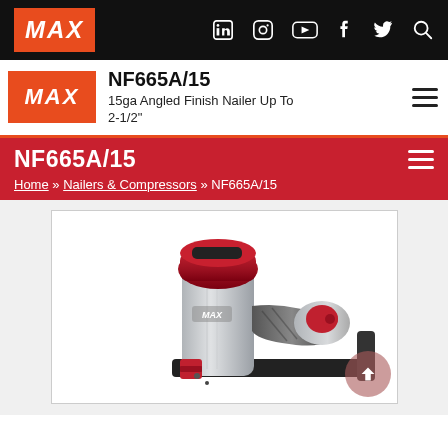MAX — top navigation bar with social icons
NF665A/15
15ga Angled Finish Nailer Up To 2-1/2"
NF665A/15
Home » Nailers & Compressors » NF665A/15
[Figure (photo): MAX NF665A/15 15-gauge angled finish nailer tool, shown in red and silver finish, with black handle and nail magazine]